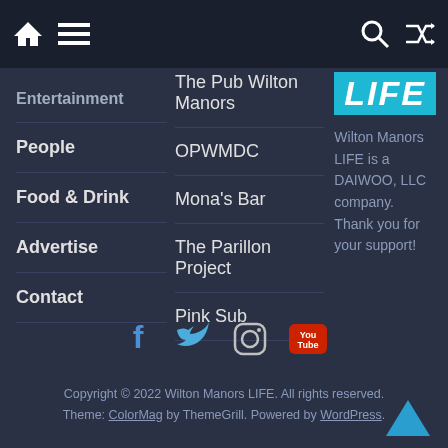Navigation bar with home, menu, search, and shuffle icons
Entertainment
People
Food & Drink
Advertise
Contact
The Pub Wilton Manors
OPWMDC
Mona's Bar
The Parillon Project
Pink Sub
[Figure (logo): Wilton Manors LIFE logo — white italic LIFE text on cyan/teal background]
Wilton Manors LIFE is a DAIWOO, LLC company. Thank you for your support!
[Figure (infographic): Social media icons row: Facebook, Twitter, Instagram, YouTube]
Copyright © 2022 Wilton Manors LIFE. All rights reserved. Theme: ColorMag by ThemeGrill. Powered by WordPress.